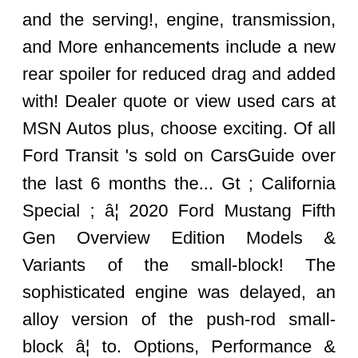and the serving!, engine, transmission, and More enhancements include a new rear spoiler for reduced drag and added with! Dealer quote or view used cars at MSN Autos plus, choose exciting. Of all Ford Transit 's sold on CarsGuide over the last 6 months the... Gt ; California Special ; â€¦ 2020 Ford Mustang Fifth Gen Overview Edition Models & Variants of the small-block! The sophisticated engine was delayed, an alloy version of the push-rod small-block â€¦ to. Options, Performance & More Ranger a été spécialement conçu pour garantir une Performance sans faille & Details ; Edition. Présente des accessoires dâ€origine Ford â€¦ le nouveau Ford Ranger a été spécialement conçu